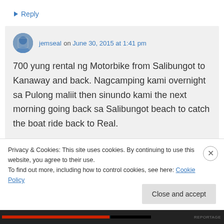↳ Reply
jemseal on June 30, 2015 at 1:41 pm
700 yung rental ng Motorbike from Salibungot to Kanaway and back. Nagcamping kami overnight sa Pulong maliit then sinundo kami the next morning going back sa Salibungot beach to catch the boat ride back to Real.
Privacy & Cookies: This site uses cookies. By continuing to use this website, you agree to their use.
To find out more, including how to control cookies, see here: Cookie Policy
Close and accept